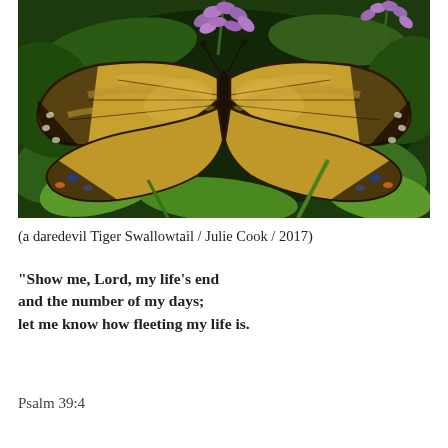[Figure (photo): Close-up photograph of a Tiger Swallowtail butterfly perched on purple flowers (butterfly bush) surrounded by green leaves. The butterfly displays its distinctive yellow and black striped wing pattern.]
(a daredevil Tiger Swallowtail / Julie Cook / 2017)
“Show me, Lord, my life’s end and the number of my days; let me know how fleeting my life is.
Psalm 39:4